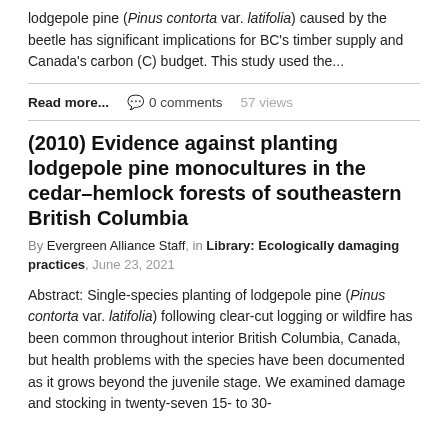lodgepole pine (Pinus contorta var. latifolia) caused by the beetle has significant implications for BC's timber supply and Canada's carbon (C) budget. This study used the...
Read more...  0 comments  57 views
(2010) Evidence against planting lodgepole pine monocultures in the cedar–hemlock forests of southeastern British Columbia
By Evergreen Alliance Staff, in Library: Ecologically damaging practices, June 23, 2021
Abstract: Single-species planting of lodgepole pine (Pinus contorta var. latifolia) following clear-cut logging or wildfire has been common throughout interior British Columbia, Canada, but health problems with the species have been documented as it grows beyond the juvenile stage. We examined damage and stocking in twenty-seven 15- to 30-